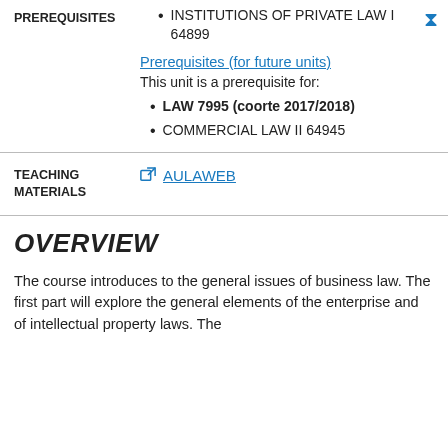PREREQUISITES
INSTITUTIONS OF PRIVATE LAW I 64899
Prerequisites (for future units)
This unit is a prerequisite for:
LAW 7995 (coorte 2017/2018)
COMMERCIAL LAW II 64945
TEACHING MATERIALS
AULAWEB
OVERVIEW
The course introduces to the general issues of business law. The first part will explore the general elements of the enterprise and of intellectual property laws. The